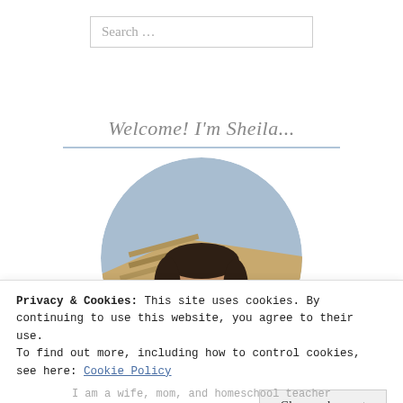Search …
Welcome! I'm Sheila...
[Figure (photo): Circular portrait photo of a woman with dark hair, smiling, outdoors near a wooden dock with a blue sky background.]
Privacy & Cookies: This site uses cookies. By continuing to use this website, you agree to their use.
To find out more, including how to control cookies, see here: Cookie Policy
Close and accept
I am a wife, mom, and homeschool teacher